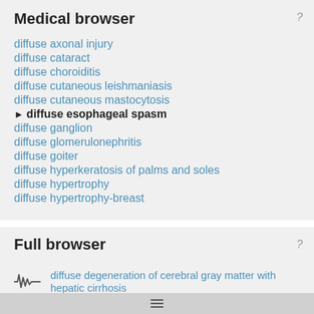Medical browser
diffuse axonal injury
diffuse cataract
diffuse choroiditis
diffuse cutaneous leishmaniasis
diffuse cutaneous mastocytosis
diffuse esophageal spasm
diffuse ganglion
diffuse glomerulonephritis
diffuse goiter
diffuse hyperkeratosis of palms and soles
diffuse hypertrophy
diffuse hypertrophy-breast
Full browser
diffuse degeneration of cerebral gray matter with hepatic cirrhosis
Diffuse Dermal Mast Cell Infiltration